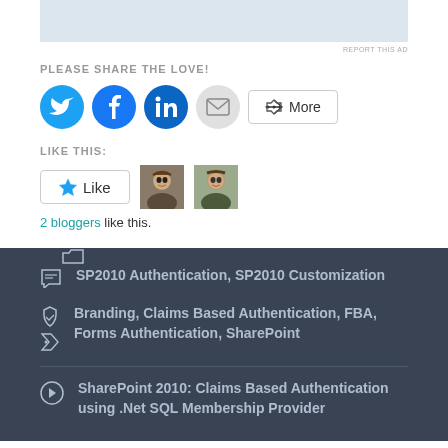[Figure (other): Advertisement banner (light blue rectangle)]
REPORT THIS AD
PLEASE SHARE THE LOVE!
[Figure (other): Social share buttons: Twitter (blue circle), Facebook (blue circle), LinkedIn (dark blue circle), Email (grey circle), and a More button]
LIKE THIS:
[Figure (other): Like button with star icon, and two blogger avatar thumbnails]
2 bloggers like this.
SP2010 Authentication, SP2010 Customization
Branding, Claims Based Authentication, FBA, Forms Authentication, SharePoint
SharePoint 2010: Claims Based Authentication using .Net SQL Membership Provider